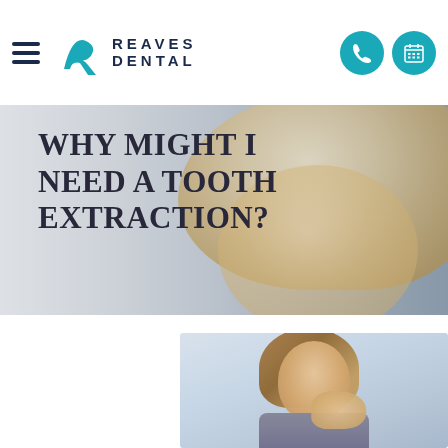Reaves Dental
WHY MIGHT I NEED A TOOTH EXTRACTION?
[Figure (photo): Woman with blonde hair smiling, dental office context]
[Figure (photo): Woman with brown hair holding her jaw in pain, suggesting tooth pain]